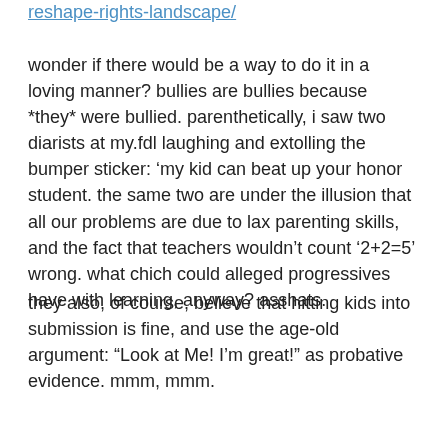reshape-rights-landscape/
wonder if there would be a way to do it in a loving manner? bullies are bullies because *they* were bullied. parenthetically, i saw two diarists at my.fdl laughing and extolling the bumper sticker: ‘my kid can beat up your honor student. the same two are under the illusion that all our problems are due to lax parenting skills, and the fact that teachers wouldn’t count ‘2+2=5’ wrong. what chich could alleged progressives have with learning, anyway? asshats.
they also, of course, believe that hitting kids into submission is fine, and use the age-old argument: “Look at Me! I’m great!” as probative evidence. mmm, mmm.